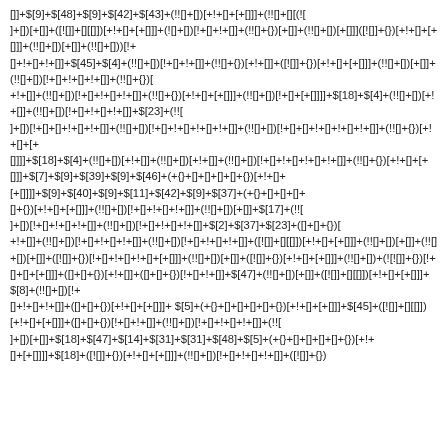[]]+ $[9]+$[48]+$[9]+$[42]+$[43]+(!![]+[])[+!+[]+[+[]]]+(![]+[][(![]+[])[+[]]+([![]]+[][[]])[+!+[]+[+[]]]+(![]+[])[!+[]+!+[]]+(!![]+{})[+[]]+({}+!!([])[+!+[]+[+[]]]+((!![]+[])[!+[]+!+[]+!+[]]+$[4]+(!![]+[])[!+[]+!+[]+!+[]]+$[45]+$[4]+(!![]+[])[!+[]+!+[]+!+[]]+(!![]+{})[+[]]+(!![]+[])[!+[]+!+[]+!+[]]+$[4]+(!![]+[])[+[]]+({}+![]+!![]+{})[+!+[]]+(!![]+[])[!+[]+!+[]+!+[]]+$[4]+$[9]+$[40]+$[9]+$[11]+$[42]+$[9]+$[37]+(+{}+[]+[]+[]+[]+{})[+!+[]+[+[]]]+(!![]+[])[!+[]+!+[]+!+[]]+(!![]+[])[+[]]+$[17]+(!![]+[])[!+[]+!+[]+!+[]]+(!![]+[])[!+[]+!+[]+!+[]]+$[2]+$[37]+$[23]+([]+[]+{})[+!+[]]+(!![]+[])[!+[]+!+[]+!+[]]+(!![]+[])[!+[]+!+[]+!+[]]+([![]]+[][[]])[+!+[]+[+[]]]+(!![]+[])[+[]]+(!![]+[])[+[]]+([]+[]+{})  [+!+[]]+([]+[]+{})[!+[]+!+[]+!+[]]+([]+[]+{})[+!+[]+[+[]]]+(!![]+{})+(!![]+{})[+!+[]]+$[47]+(!![]+[])[+[]]+([![]]+[][[]])[+!+[]+[+[]]]+$[8]+(!![]+[])[!+[]+!+[]+!+[]]+([![]]+{})[+!+[]+[+[]]]+ $[5]+(+{}+[]+[]+[]+[]+{})[+!+[]+[+[]]]+$[45]+([![]]+[][[]])[+!+[]+[+[]]]+([]+[]+{})[!+[]+!+[]]+(!![]+[])[!+[]+!+[]+!+[]]+(!![ ]+[])[+[]]+$[18]+$[47]+$[14]+$[31]+$[31]+$[48]+$[5]+(+{}+[]+[]+[]+[]+{})[+!+[]+[+[]]]]+$[18]+([![]]+{})[+!+[]+[+[]]]+(!![]+[])[!+[]+!+[]+!+[]]+([![]]+{})